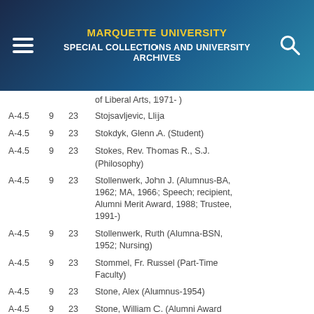MARQUETTE UNIVERSITY SPECIAL COLLECTIONS AND UNIVERSITY ARCHIVES
of Liberal Arts, 1971- )
A-4.5  9  23  Stojsavljevic, Llija
A-4.5  9  23  Stokdyk, Glenn A. (Student)
A-4.5  9  23  Stokes, Rev. Thomas R., S.J. (Philosophy)
A-4.5  9  23  Stollenwerk, John J. (Alumnus-BA, 1962; MA, 1966; Speech; recipient, Alumni Merit Award, 1988; Trustee, 1991-)
A-4.5  9  23  Stollenwerk, Ruth (Alumna-BSN, 1952; Nursing)
A-4.5  9  23  Stommel, Fr. Russel (Part-Time Faculty)
A-4.5  9  23  Stone, Alex (Alumnus-1954)
A-4.5  9  23  Stone, William C. (Alumni Award Recipient, 2012)
A-4.5  9  23  Stonek, Robert L. (Alumnus-BA, 1962; Law; Assistant Director, Institute on Poverty and the Law)